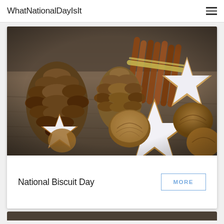WhatNationalDayIsIt
[Figure (photo): Close-up photo of pine cones, cinnamon sticks tied with twine, walnuts, and star-shaped iced biscuits/cookies arranged on a wooden surface]
National Biscuit Day
MORE